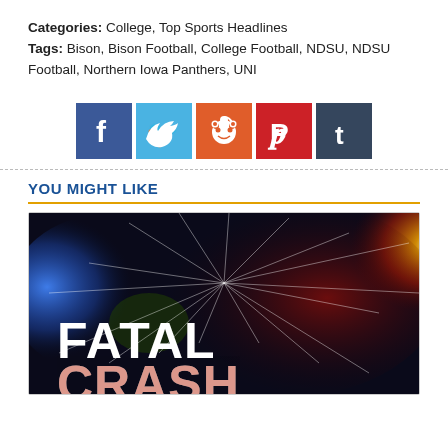Categories: College, Top Sports Headlines
Tags: Bison, Bison Football, College Football, NDSU, NDSU Football, Northern Iowa Panthers, UNI
[Figure (infographic): Social media share buttons: Facebook (blue), Twitter (light blue), Reddit (orange-red), Pinterest (red), Tumblr (dark blue)]
YOU MIGHT LIKE
[Figure (photo): Fatal Crash news graphic — dramatic image with broken glass, police lights in blue and red, large text reading FATAL CRASH]